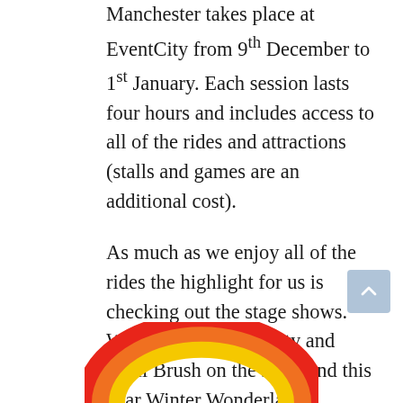Manchester takes place at EventCity from 9th December to 1st January. Each session lasts four hours and includes access to all of the rides and attractions (stalls and games are an additional cost).
As much as we enjoy all of the rides the highlight for us is checking out the stage shows. We have watched Sooty and Basil Brush on the stage and this year Winter Wonderland Manchester welcomes Rainbow. It will be great to be able to introduce my kids to Zippy and George.
[Figure (illustration): Partial rainbow arc illustration with red, orange, and yellow concentric arcs visible at the bottom of the page]